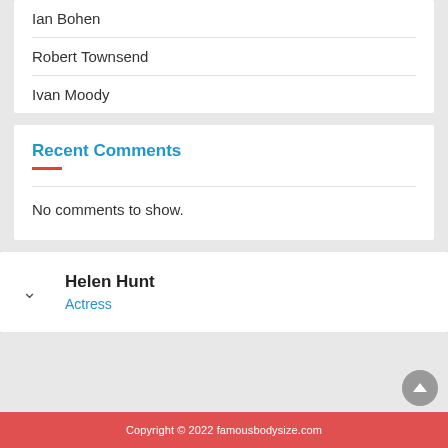Ian Bohen
Robert Townsend
Ivan Moody
Recent Comments
No comments to show.
Helen Hunt
Actress
Copyright © 2022 famousbodysize.com